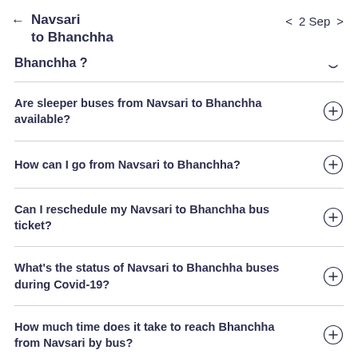Navsari to Bhanchha  ←   2 Sep
Bhanchha ?
Are sleeper buses from Navsari to Bhanchha available?
How can I go from Navsari to Bhanchha?
Can I reschedule my Navsari to Bhanchha bus ticket?
What's the status of Navsari to Bhanchha buses during Covid-19?
How much time does it take to reach Bhanchha from Navsari by bus?